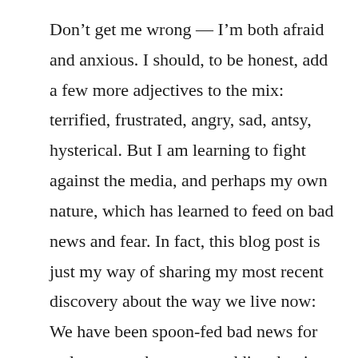Don't get me wrong — I'm both afraid and anxious. I should, to be honest, add a few more adjectives to the mix: terrified, frustrated, angry, sad, antsy, hysterical. But I am learning to fight against the media, and perhaps my own nature, which has learned to feed on bad news and fear. In fact, this blog post is just my way of sharing my most recent discovery about the way we live now: We have been spoon-fed bad news for so long now that we are addicted to it. Like the teenager who loves to ride the scariest roller coasters or watch the most terrifying horror flicks, we want to scare ourselves with stories of the disasters that lie ahead of us, of tragedies waiting to jump out at us. Fear, it turns out, is just as thrilling in a news report as it is in a terrifying ride which we cannot get off of. I will leave it to another